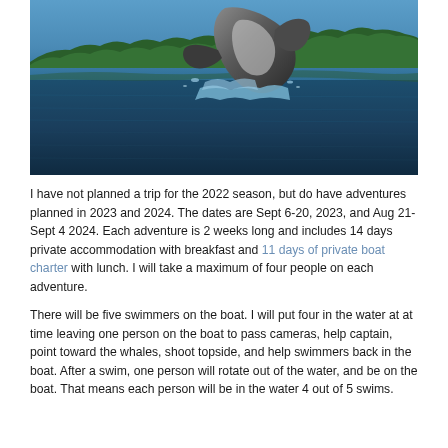[Figure (photo): A humpback whale breaching out of dark blue ocean water, with a forested tropical island coastline visible in the background under a blue sky.]
I have not planned a trip for the 2022 season, but do have adventures planned in 2023 and 2024. The dates are Sept 6-20, 2023, and Aug 21-Sept 4 2024. Each adventure is 2 weeks long and includes 14 days private accommodation with breakfast and 11 days of private boat charter with lunch. I will take a maximum of four people on each adventure.
There will be five swimmers on the boat. I will put four in the water at at time leaving one person on the boat to pass cameras, help captain, point toward the whales, shoot topside, and help swimmers back in the boat. After a swim, one person will rotate out of the water, and be on the boat. That means each person will be in the water 4 out of 5 swims.